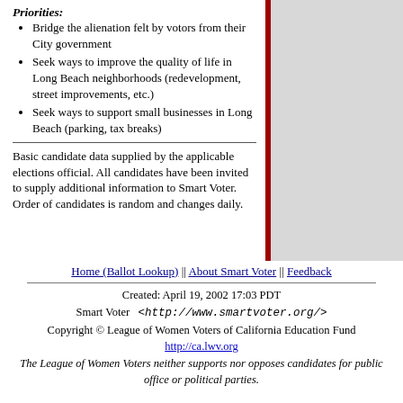Priorities:
Bridge the alienation felt by votors from their City government
Seek ways to improve the quality of life in Long Beach neighborhoods (redevelopment, street improvements, etc.)
Seek ways to support small businesses in Long Beach (parking, tax breaks)
Basic candidate data supplied by the applicable elections official. All candidates have been invited to supply additional information to Smart Voter. Order of candidates is random and changes daily.
Home (Ballot Lookup) || About Smart Voter || Feedback
Created: April 19, 2002 17:03 PDT
Smart Voter <http://www.smartvoter.org/>
Copyright © League of Women Voters of California Education Fund
http://ca.lwv.org
The League of Women Voters neither supports nor opposes candidates for public office or political parties.